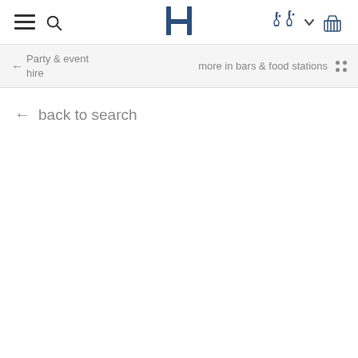Party & event hire | more in bars & food stations
← back to search